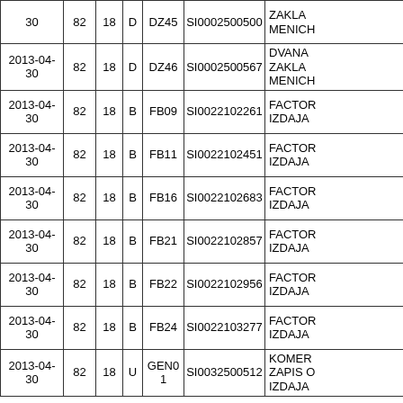| Date | Col2 | Col3 | Type | Code | SI Number | Description |
| --- | --- | --- | --- | --- | --- | --- |
| 30 | 82 | 18 | D | DZ45 | SI0002500500 | ZAKLA MENICH |
| 2013-04-30 | 82 | 18 | D | DZ46 | SI0002500567 | DVANA ZAKLA MENICH |
| 2013-04-30 | 82 | 18 | B | FB09 | SI0022102261 | FACTOR IZDAJA |
| 2013-04-30 | 82 | 18 | B | FB11 | SI0022102451 | FACTOR IZDAJA |
| 2013-04-30 | 82 | 18 | B | FB16 | SI0022102683 | FACTOR IZDAJA |
| 2013-04-30 | 82 | 18 | B | FB21 | SI0022102857 | FACTOR IZDAJA |
| 2013-04-30 | 82 | 18 | B | FB22 | SI0022102956 | FACTOR IZDAJA |
| 2013-04-30 | 82 | 18 | B | FB24 | SI0022103277 | FACTOR IZDAJA |
| 2013-04-30 | 82 | 18 | U | GEN01 | SI0032500512 | KOMER ZAPIS O IZDAJA |